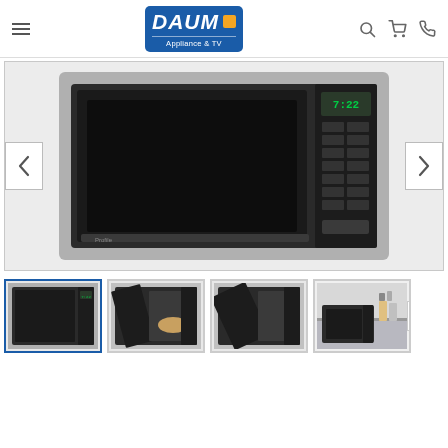[Figure (logo): DAUM Appliance & TV logo — blue rectangle with white bold italic DAUM text and orange square, subtitle 'Appliance & TV']
[Figure (photo): Main product image: GE Profile built-in stainless steel microwave oven shown from the front, with black glass door and control panel on the right side]
[Figure (photo): Thumbnail 1 (active/selected): Front view of stainless steel built-in microwave]
[Figure (photo): Thumbnail 2: Microwave with door open showing interior with food]
[Figure (photo): Thumbnail 3: Microwave with door partially open from different angle]
[Figure (photo): Thumbnail 4: Microwave placed on a kitchen countertop/shelf with accessories in background]